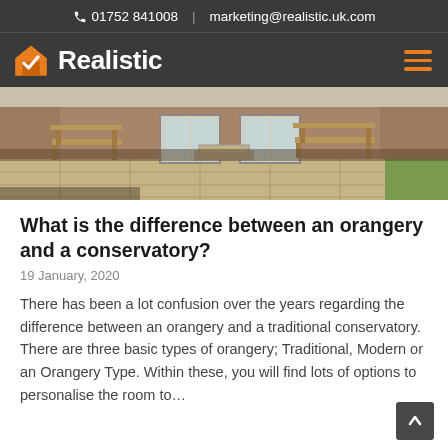01752 841008  |  marketing@realistic.uk.com
Realistic
[Figure (photo): Outdoor patio scene with wooden garden benches in front of a brick building with white-framed windows and stone paving.]
What is the difference between an orangery and a conservatory?
19 January, 2020
There has been a lot confusion over the years regarding the difference between an orangery and a traditional conservatory. There are three basic types of orangery; Traditional, Modern or an Orangery Type. Within these, you will find lots of options to personalise the room to…